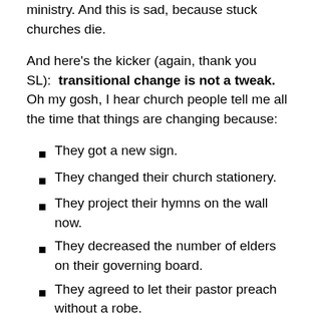Sometimes church people do not want a new chapter of ministry.  And this is sad, because stuck churches die.
And here's the kicker (again, thank you SL):  transitional change is not a tweak.  Oh my gosh, I hear church people tell me all the time that things are changing because:
They got a new sign.
They changed their church stationery.
They project their hymns on the wall now.
They decreased the number of elders on their governing board.
They agreed to let their pastor preach without a robe.
These are tweaks, not cultural changes.  Cultural changes are way harder because our culture is so entrenched, we don't even know what it is.  (And that's the job of the